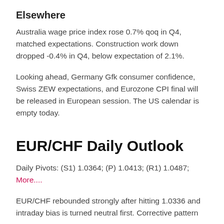Elsewhere
Australia wage price index rose 0.7% qoq in Q4, matched expectations. Construction work down dropped -0.4% in Q4, below expectation of 2.1%.
Looking ahead, Germany Gfk consumer confidence, Swiss ZEW expectations, and Eurozone CPI final will be released in European session. The US calendar is empty today.
EUR/CHF Daily Outlook
Daily Pivots: (S1) 1.0364; (P) 1.0413; (R1) 1.0487; More....
EUR/CHF rebounded strongly after hitting 1.0336 and intraday bias is turned neutral first. Corrective pattern